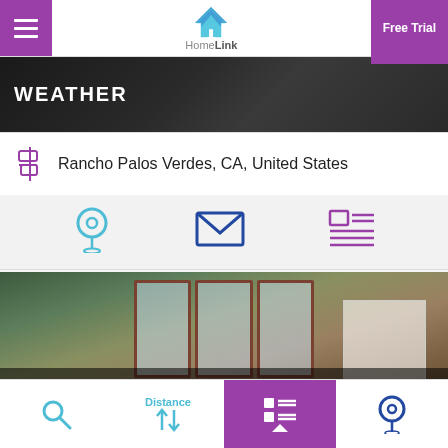HomeLink — Free Trial
[Figure (screenshot): Dark background image with WEATHER label overlay]
Rancho Palos Verdes, CA, United States
[Figure (infographic): Three icons: location pin, envelope/mail, and article/listing view]
[Figure (photo): Interior photo of a large studio apartment living room with sofa, bookshelves, and large windows]
LARGE STUDIO APPARTMENT IN TRENDY EAST
Distance sort — List view — Location